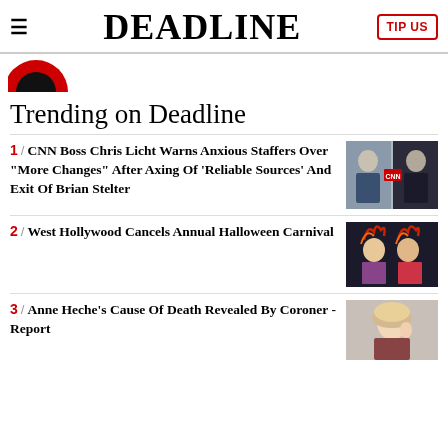DEADLINE
[Figure (logo): Partial red and black circle logo at top left]
Trending on Deadline
1 / CNN Boss Chris Licht Warns Anxious Staffers Over "More Changes" After Axing Of 'Reliable Sources' And Exit Of Brian Stelter
[Figure (photo): Two men in suits with CNN logo between them]
2 / West Hollywood Cancels Annual Halloween Carnival
[Figure (photo): Two people in festive Halloween costumes with feathered headpieces]
3 / Anne Heche's Cause Of Death Revealed By Coroner - Report
[Figure (photo): Blonde woman posing with hand near face]